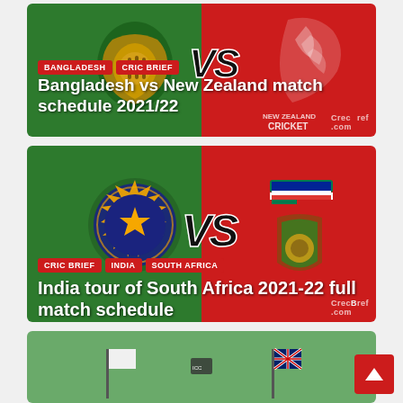[Figure (photo): Bangladesh vs New Zealand cricket match card with green and red split background, team logos, VS text, category tags BANGLADESH and CRIC BRIEF]
Bangladesh vs New Zealand match schedule 2021/22
[Figure (photo): India vs South Africa cricket match card with green and red split background, BCCI and CSA logos, VS text, category tags CRIC BRIEF, INDIA, SOUTH AFRICA]
India tour of South Africa 2021-22 full match schedule
[Figure (photo): Third cricket match card with green background showing two small flags and a central emblem, partially visible]